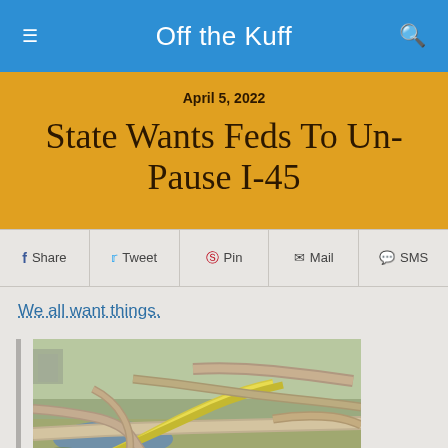Off the Kuff
April 5, 2022
State Wants Feds To Un-Pause I-45
Share  Tweet  Pin  Mail  SMS
We all want things.
[Figure (photo): Aerial view of a highway interchange showing multiple elevated roads and expressways intersecting, with green and yellow highlighted lanes.]